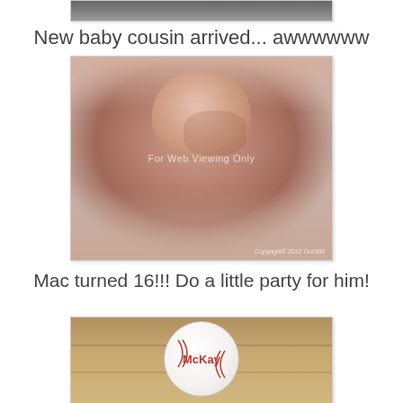[Figure (photo): Partial top of a photo, cropped at the top of the page]
New baby cousin arrived... awwwwww LOVE him!
[Figure (photo): Close-up photo of a newborn baby being cradled in adult hands. A watermark reads 'For Web Viewing Only' and a copyright mark 'Copyright 2012 Our365' appears in the bottom right.]
Mac turned 16!!! Do a little party for him!
[Figure (photo): Photo of a baseball with the name 'McKay' written in red on it, set on a wooden surface.]